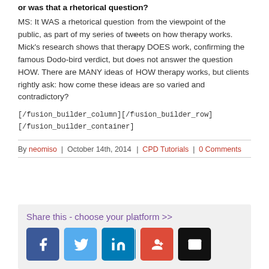or was that a rhetorical question?
MS: It WAS a rhetorical question from the viewpoint of the public, as part of my series of tweets on how therapy works. Mick's research shows that therapy DOES work, confirming the famous Dodo-bird verdict, but does not answer the question HOW. There are MANY ideas of HOW therapy works, but clients rightly ask: how come these ideas are so varied and contradictory?
[/fusion_builder_column][/fusion_builder_row]
[/fusion_builder_container]
By neomiso | October 14th, 2014 | CPD Tutorials | 0 Comments
Share this - choose your platform >>